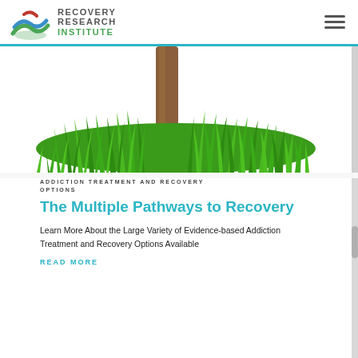[Figure (logo): Recovery Research Institute logo with stylized wave/leaf icon in green, blue and red, with text RECOVERY RESEARCH INSTITUTE]
[Figure (photo): Bottom portion of a tree trunk surrounded by lush green grass, cropped image on white background]
ADDICTION TREATMENT AND RECOVERY OPTIONS
The Multiple Pathways to Recovery
Learn More About the Large Variety of Evidence-based Addiction Treatment and Recovery Options Available
READ MORE